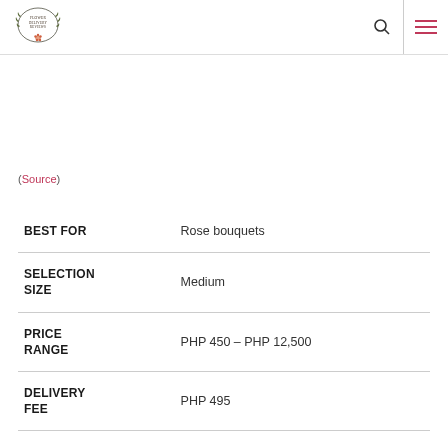Flower Delivery Reviews [logo] | search | menu
(Source)
|  |  |
| --- | --- |
| BEST FOR | Rose bouquets |
| SELECTION SIZE | Medium |
| PRICE RANGE | PHP 450 – PHP 12,500 |
| DELIVERY FEE | PHP 495 |